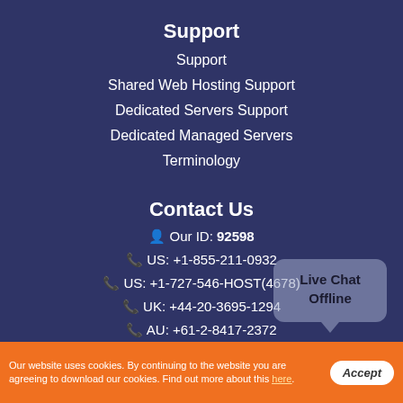Support
Support
Shared Web Hosting Support
Dedicated Servers Support
Dedicated Managed Servers
Terminology
Contact Us
Our ID: 92598
US: +1-855-211-0932
US: +1-727-546-HOST(4678)
UK: +44-20-3695-1294
AU: +61-2-8417-2372
[Figure (other): Live Chat Offline button widget]
Our website uses cookies. By continuing to the website you are agreeing to download our cookies. Find out more about this here.